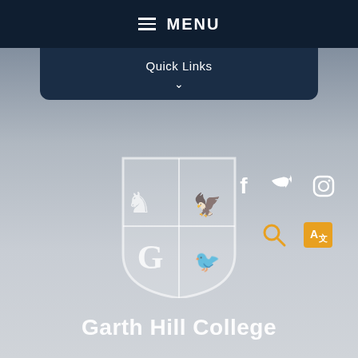MENU
Quick Links
[Figure (logo): Garth Hill College shield/crest logo in white on grey background]
Garth Hill College